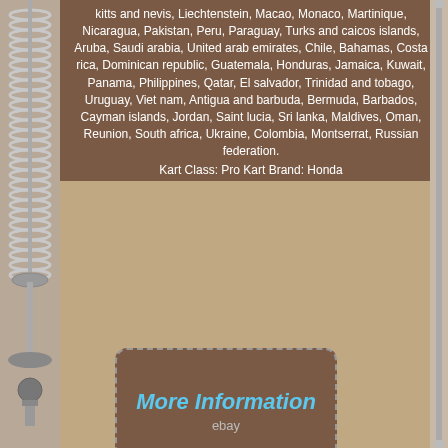kitts and nevis, Liechtenstein, Macao, Monaco, Martinique, Nicaragua, Pakistan, Peru, Paraguay, Turks and caicos islands, Aruba, Saudi arabia, United arab emirates, Chile, Bahamas, Costa rica, Dominican republic, Guatemala, Honduras, Jamaica, Kuwait, Panama, Philippines, Qatar, El salvador, Trinidad and tobago, Uruguay, Viet nam, Antigua and barbuda, Bermuda, Barbados, Cayman islands, Jordan, Saint lucia, Sri lanka, Maldives, Oman, Reunion, South africa, Ukraine, Colombia, Montserrat, Russian federation.
Kart Class: Pro Kart Brand: Honda
[Figure (other): More Information button with eBay branding in blue italic text inside a dashed border rounded rectangle on brown background]
[Figure (other): View Price button with eBay branding in blue italic text inside a dashed border rounded rectangle on brown background]
[Figure (other): Social sharing icons row: Facebook (blue), Twitter (light blue), Pinterest (red), Email (blue)]
[Figure (other): Mechanical engine parts (valves, springs, piston components) visible on left side strip and bottom of page]
piston civic piston